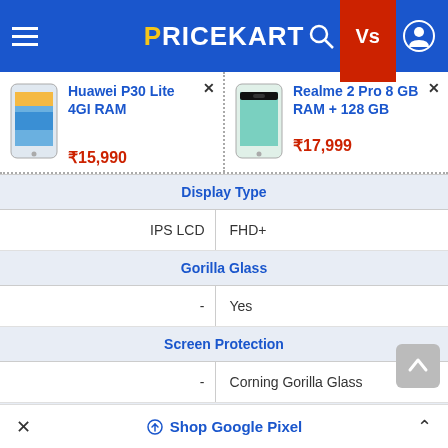PRICEKART
Huawei P30 Lite 4GI RAM ₹15,990
Realme 2 Pro 8 GB RAM + 128 GB ₹17,999
| Huawei P30 Lite 4GI RAM | Realme 2 Pro 8 GB RAM + 128 GB |
| --- | --- |
| Display Type | Display Type |
| IPS LCD | FHD+ |
| Gorilla Glass | Gorilla Glass |
| - | Yes |
| Screen Protection | Screen Protection |
| - | Corning Gorilla Glass |
| Brand | Brand |
| Huawei | Realme |
Shop Google Pixel